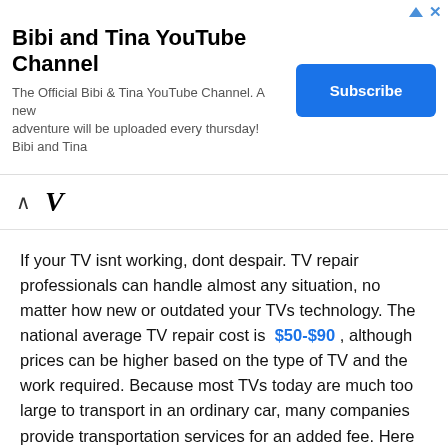[Figure (screenshot): Advertisement banner for Bibi and Tina YouTube Channel with Subscribe button and close/info icons]
Bibi and Tina YouTube Channel
The Official Bibi & Tina YouTube Channel. A new adventure will be uploaded every thursday! Bibi and Tina
[Figure (screenshot): Navigation area with up arrow and V icon]
If your TV isnt working, dont despair. TV repair professionals can handle almost any situation, no matter how new or outdated your TVs technology. The national average TV repair cost is $50-$90 , although prices can be higher based on the type of TV and the work required. Because most TVs today are much too large to transport in an ordinary car, many companies provide transportation services for an added fee. Here are some examples of average TV repair costs for specific problems and TV models: